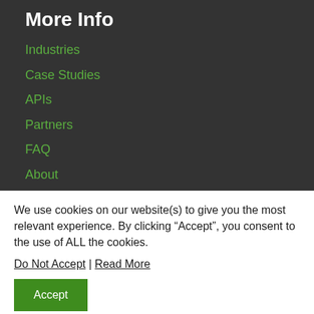More Info
Industries
Case Studies
APIs
Partners
FAQ
About
Pricing
Terms of Service
Privacy Policy
We use cookies on our website(s) to give you the most relevant experience. By clicking “Accept”, you consent to the use of ALL the cookies.
Do Not Accept | Read More
Accept